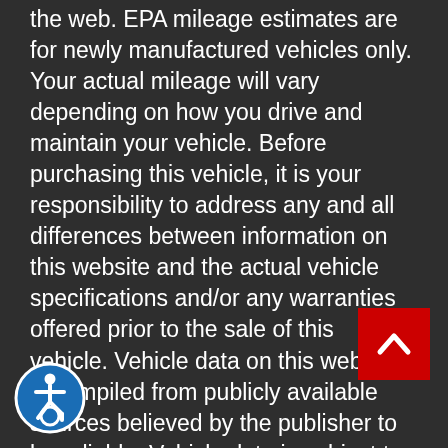the web. EPA mileage estimates are for newly manufactured vehicles only. Your actual mileage will vary depending on how you drive and maintain your vehicle. Before purchasing this vehicle, it is your responsibility to address any and all differences between information on this website and the actual vehicle specifications and/or any warranties offered prior to the sale of this vehicle. Vehicle data on this website is compiled from publicly available sources believed by the publisher to be reliable. Vehicle data is subject to change without notice. The publisher assumes no responsibility for errors and/or omissions in this data the compilation of this data and makes no representations express or implied to any actual or prospective purchaser of the vehicle as to the condition of the vehicle, vehicle specifications, ownership, vehicle history, equipment/accessories, price or warranties.
[Figure (other): Red scroll-to-top button with upward chevron arrow]
[Figure (other): Accessibility icon button - blue circle with wheelchair user symbol]